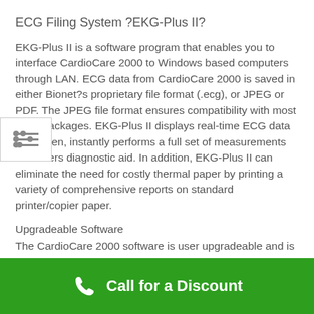ECG Filing System ?EKG-Plus II?
EKG-Plus II is a software program that enables you to interface CardioCare 2000 to Windows based computers through LAN. ECG data from CardioCare 2000 is saved in either Bionet?s proprietary file format (.ecg), or JPEG or PDF. The JPEG file format ensures compatibility with most EMR packages. EKG-Plus II displays real-time ECG data on-screen, instantly performs a full set of measurements and offers diagnostic aid. In addition, EKG-Plus II can eliminate the need for costly thermal paper by printing a variety of comprehensive reports on standard printer/copier paper.
Upgradeable Software
The CardioCare 2000 software is user upgradeable and is
Call for a Discount